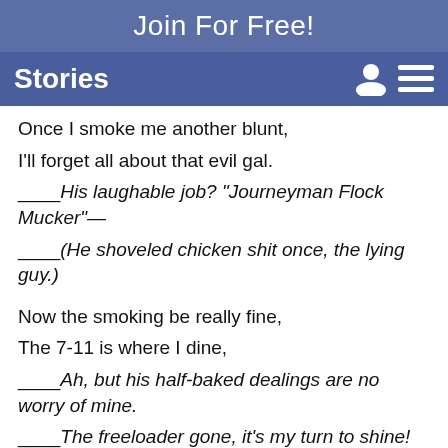Join For Free!
Stories
Once I smoke me another blunt,
I'll forget all about that evil gal.
____His laughable job? "Journeyman Flock Mucker"—
____(He shoveled chicken shit once, the lying guy.)
Now the smoking be really fine,
The 7-11 is where I dine,
____Ah, but his half-baked dealings are no worry of mine.
____The freeloader gone, it's my turn to shine!